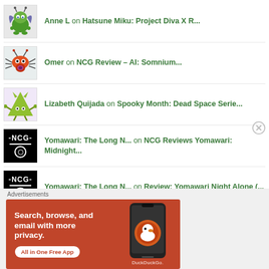Anne L on Hatsune Miku: Project Diva X R...
Omer on NCG Review – AI: Somnium...
Lizabeth Quijada on Spooky Month: Dead Space Serie...
Yomawari: The Long N... on NCG Reviews Yomawari: Midnight...
Yomawari: The Long N... on Review: Yomawari Night Alone (...
Advertisements
[Figure (screenshot): DuckDuckGo advertisement banner with orange background showing 'Search, browse, and email with more privacy. All in One Free App' with a phone image and DuckDuckGo logo]